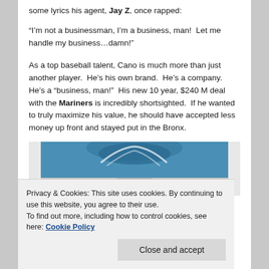some lyrics his agent, Jay Z, once rapped:
“I’m not a businessman, I’m a business, man!  Let me handle my business…damn!”
As a top baseball talent, Cano is much more than just another player.  He’s his own brand.  He’s a company.  He’s a “business, man!”  His new 10 year, $240 M deal with the Mariners is incredibly shortsighted.  If he wanted to truly maximize his value, he should have accepted less money up front and stayed put in the Bronx.
[Figure (photo): Photo of a baseball player or Mariners-related image, partially visible with blue background and white logo/cap element]
Privacy & Cookies: This site uses cookies. By continuing to use this website, you agree to their use.
To find out more, including how to control cookies, see here: Cookie Policy